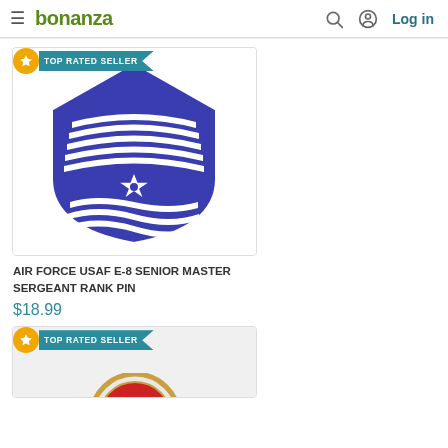bonanza — Log in
[Figure (photo): Air Force USAF E-8 Senior Master Sergeant rank pin — blue chevron insignia with star, shown on white background. Has TOP RATED SELLER badge.]
AIR FORCE USAF E-8 SENIOR MASTER SERGEANT RANK PIN
$18.99
[Figure (photo): Partial view of a coin/medallion with 'STATES' visible text, gold/silver border. Has TOP RATED SELLER badge.]